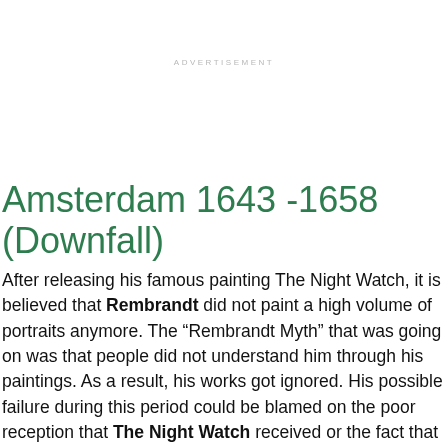ADVERTISEMENT
Amsterdam 1643 -1658 (Downfall)
After releasing his famous painting The Night Watch, it is believed that Rembrandt did not paint a high volume of portraits anymore. The “Rembrandt Myth” that was going on was that people did not understand him through his paintings. As a result, his works got ignored. His possible failure during this period could be blamed on the poor reception that The Night Watch received or the fact that his wife